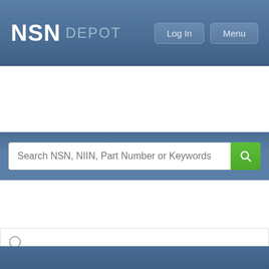NSN DEPOT
Search NSN, NIIN, Part Number or Keywords
| NSN | Part Number |
| --- | --- |
| 4220-01-015-7346 | 0902-028-6010MK6 |
| 4220-01-020-3438 | 2141489 |
| 4220-01-023-0246 | SC4220-97-CL-E13 |